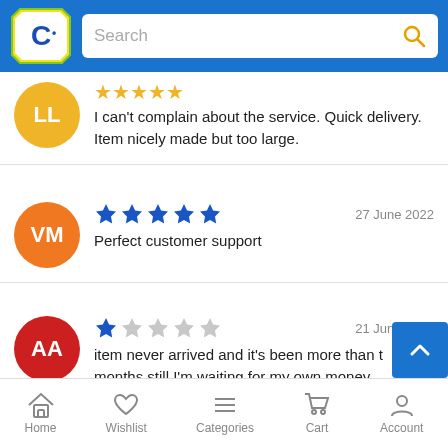[Figure (screenshot): Catch.com.au app header with logo and search bar]
I can't complain about the service. Quick delivery. Item nicely made but too large.
★★★★★ 27 June 2022
Perfect customer support
★☆☆☆☆ 21 June 2022
item never arrived and it's been more than t… months still I'm waiting for my own money.
Home  Wishlist  Categories  Cart  Account